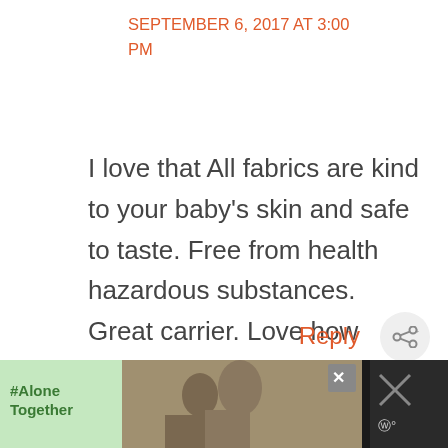SEPTEMBER 6, 2017 AT 3:00 PM
I love that All fabrics are kind to your baby's skin and safe to taste. Free from health hazardous substances. Great carrier. Love how versatile it is.
Reply
[Figure (screenshot): Advertisement banner at bottom with #AloneTogether hashtag on green background, photo of people in background, close button, and dark sidebar]